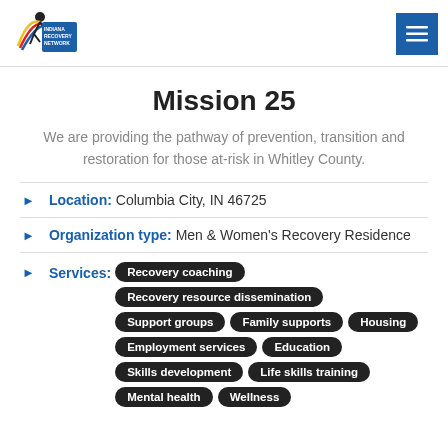[Figure (logo): Indiana Recovery Network logo with colorful figure and text]
Mission 25
We are providing the pathway of prevention, transition and restoration for those at-risk in Whitley County.
Location: Columbia City, IN 46725
Organization type: Men & Women's Recovery Residence
Services: Recovery coaching, Recovery resource dissemination, Support groups, Family supports, Housing, Employment services, Education, Skills development, Life skills training, Mental health, Wellness